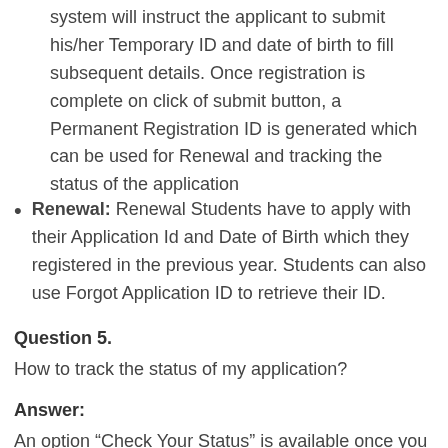system will instruct the applicant to submit his/her Temporary ID and date of birth to fill subsequent details. Once registration is complete on click of submit button, a Permanent Registration ID is generated which can be used for Renewal and tracking the status of the application
Renewal: Renewal Students have to apply with their Application Id and Date of Birth which they registered in the previous year. Students can also use Forgot Application ID to retrieve their ID.
Question 5.
How to track the status of my application?
Answer:
An option “Check Your Status” is available once you